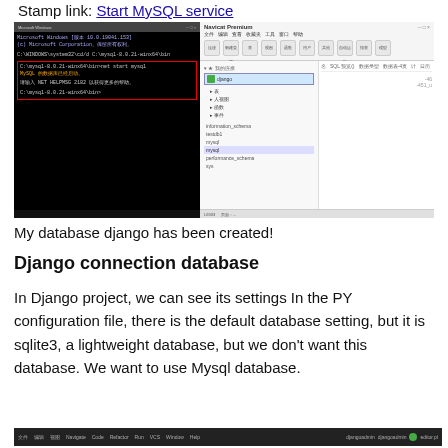Stamp link: Start MySQL service
[Figure (screenshot): Screenshot showing a Windows CMD window with MySQL commands and Navicat database GUI with 'django' database selected in the left panel]
My database django has been created!
Django connection database
In Django project, we can see its settings In the PY configuration file, there is the default database setting, but it is sqlite3, a lightweight database, but we don't want this database. We want to use Mysql database.
[Figure (screenshot): Screenshot of a dark terminal/IDE window, partially visible at the bottom of the page]